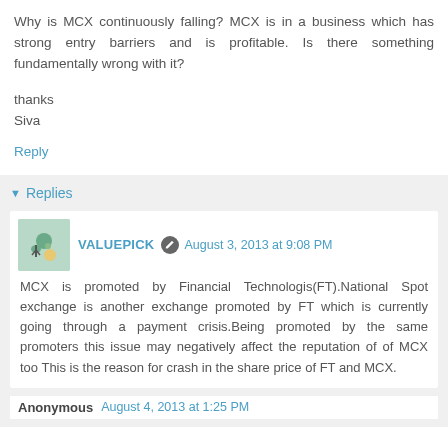Why is MCX continuously falling? MCX is in a business which has strong entry barriers and is profitable. Is there something fundamentally wrong with it?
thanks
Siva
Reply
Replies
VALUEPICK  August 3, 2013 at 9:08 PM
MCX is promoted by Financial Technologis(FT).National Spot exchange is another exchange promoted by FT which is currently going through a payment crisis.Being promoted by the same promoters this issue may negatively affect the reputation of of MCX too This is the reason for crash in the share price of FT and MCX.
Anonymous  August 4, 2013 at 1:25 PM